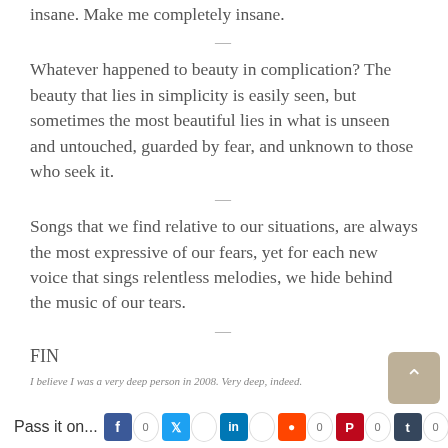insane. Make me completely insane.
Whatever happened to beauty in complication? The beauty that lies in simplicity is easily seen, but sometimes the most beautiful lies in what is unseen and untouched, guarded by fear, and unknown to those who seek it.
Songs that we find relative to our situations, are always the most expressive of our fears, yet for each new voice that sings relentless melodies, we hide behind the music of our tears.
FIN
I believe I was a very deep person in 2008. Very deep, indeed.
Pass it on...